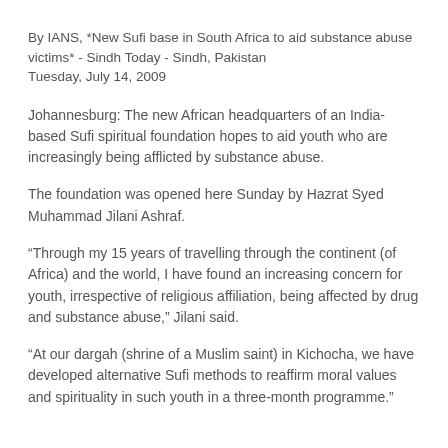By IANS, *New Sufi base in South Africa to aid substance abuse victims* - Sindh Today - Sindh, Pakistan Tuesday, July 14, 2009
Johannesburg: The new African headquarters of an India-based Sufi spiritual foundation hopes to aid youth who are increasingly being afflicted by substance abuse.
The foundation was opened here Sunday by Hazrat Syed Muhammad Jilani Ashraf.
“Through my 15 years of travelling through the continent (of Africa) and the world, I have found an increasing concern for youth, irrespective of religious affiliation, being affected by drug and substance abuse,” Jilani said.
“At our dargah (shrine of a Muslim saint) in Kichocha, we have developed alternative Sufi methods to reaffirm moral values and spirituality in such youth in a three-month programme.”